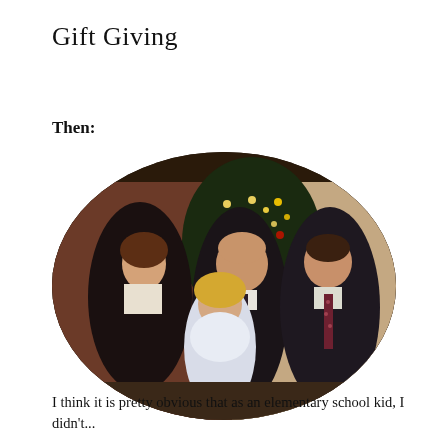Gift Giving
Then:
[Figure (photo): Oval-framed family Christmas photo showing four people: a woman with short brown hair in a black outfit, a young blonde girl in a white dress, a bald man in a dark suit smiling, and an older boy in a dark blazer with a floral tie. A decorated Christmas tree with lights is visible in the background. A timestamp '12 2' appears in the lower right corner.]
I think it is pretty obvious that as an elementary school kid, I didn't...